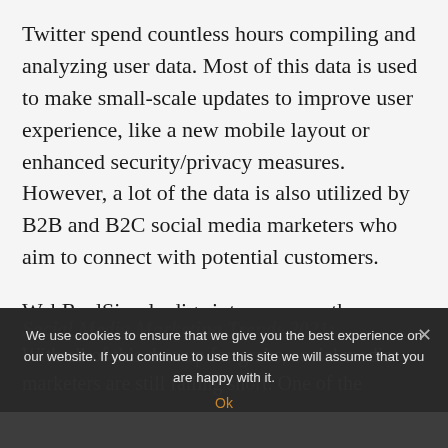Twitter spend countless hours compiling and analyzing user data. Most of this data is used to make small-scale updates to improve user experience, like a new mobile layout or enhanced security/privacy measures. However, a lot of the data is also utilized by B2B and B2C social media marketers who aim to connect with potential customers.
WebRealSimple digs into newsworthy updates from the social media giants, which factors impact your marketing campaigns, and why keeping up with social media trends is essential to the success of your business.
We use cookies to ensure that we give you the best experience on our website. If you continue to use this site we will assume that you are happy with it.
Ok
Social Media Marketing Trends 2021:
With all of this data up for grabs, social media marketers are still falling short. One of the